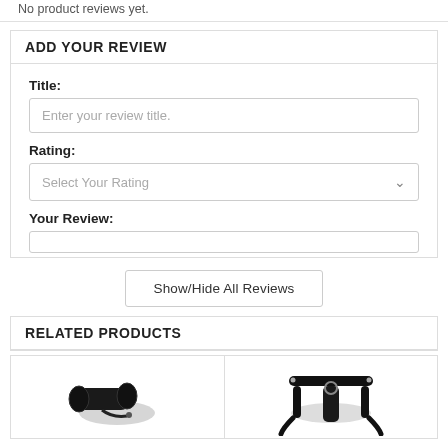No product reviews yet.
ADD YOUR REVIEW
Title:
Enter your review title.
Rating:
Select Your Rating
Your Review:
Show/Hide All Reviews
RELATED PRODUCTS
[Figure (photo): Black restraint/cuff product on white background]
[Figure (photo): Black harness product on white background]